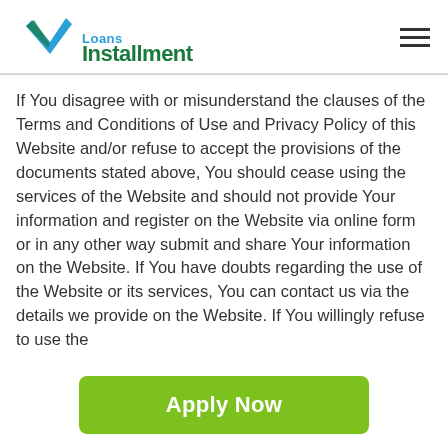Installment Loans
If You disagree with or misunderstand the clauses of the Terms and Conditions of Use and Privacy Policy of this Website and/or refuse to accept the provisions of the documents stated above, You should cease using the services of the Website and should not provide Your information and register on the Website via online form or in any other way submit and share Your information on the Website. If You have doubts regarding the use of the Website or its services, You can contact us via the details we provide on the Website. If You willingly refuse to use the
[Figure (other): Green Apply Now button]
Applying does NOT affect your credit score!
No credit check to apply.